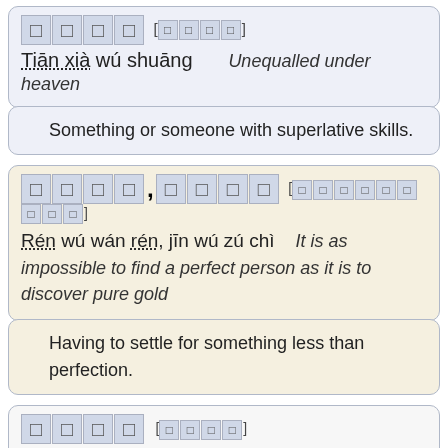天下无双 [天下無雙] Tiān xià wú shuāng — Unequalled under heaven
Something or someone with superlative skills.
人无完人,金无足赤 [人無完人，金無足赤] Rén wú wán rén, jīn wú zú chì — It is as impossible to find a perfect person as it is to discover pure gold
Having to settle for something less than perfection.
髀肉复生 [髀肉復生] Bì ròu fù shēng — The thigh muscles have recovered
To get fit and become reinvigorated. The story is from the end of the Han dynasty after the battle of Guandu Zhi Zhan when Cao Cao beat Liu Bei. Liu Bei then fled to Henan and took things easy. One day he noticed that he had become flabby particularly in his thighs so he realized he